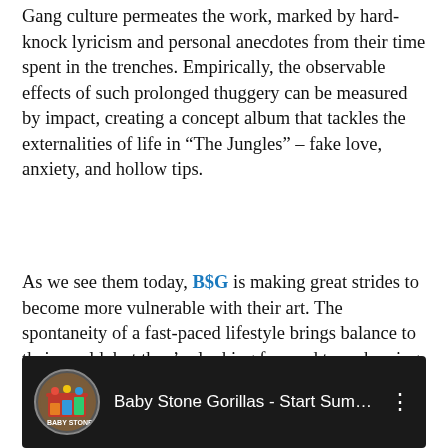Gang culture permeates the work, marked by hard-knock lyricism and personal anecdotes from their time spent in the trenches. Empirically, the observable effects of such prolonged thuggery can be measured by impact, creating a concept album that tackles the externalities of life in “The Jungles” – fake love, anxiety, and hollow tips.
As we see them today, B$G is making great strides to become more vulnerable with their art. The spontaneity of a fast-paced lifestyle brings balance to their world, but they’re looking forward to embracing new beginnings while also reminding everyone that they can’t be fucked with.
[Figure (screenshot): YouTube video thumbnail showing Baby Stone Gorillas - Start Sum... with a circular avatar image on the left and a three-dot menu icon on the right, on a dark background.]